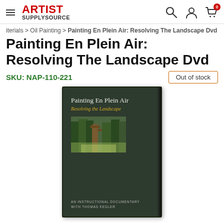[Figure (logo): Artist Supply Source logo with hamburger menu icon on the left]
iterials > Oil Painting > Painting En Plein Air: Resolving The Landscape Dvd
Painting En Plein Air: Resolving The Landscape Dvd
SKU: NAP-110-221
Out of stock
[Figure (photo): DVD case for 'Painting En Plein Air: Resolving the Landscape' with dark green cover, showing a forest landscape painting thumbnail, subtitled 'An Instructional Documentary With Thomas Kegler']